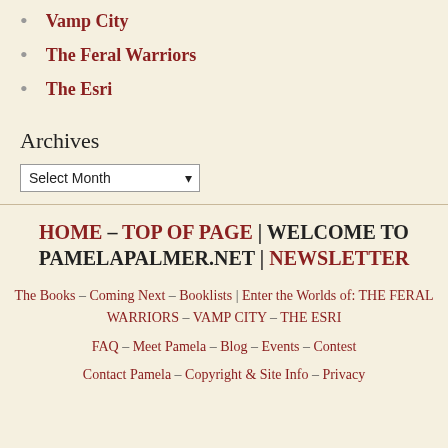Vamp City
The Feral Warriors
The Esri
Archives
Select Month
HOME – TOP OF PAGE | WELCOME TO PAMELAPALMER.NET | NEWSLETTER
The Books – Coming Next – Booklists | Enter the Worlds of: THE FERAL WARRIORS – VAMP CITY – THE ESRI
FAQ – Meet Pamela – Blog – Events – Contest
Contact Pamela – Copyright & Site Info – Privacy